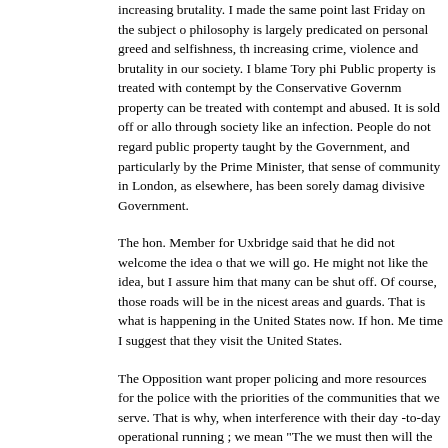increasing brutality. I made the same point last Friday on the subject of philosophy is largely predicated on personal greed and selfishness, th increasing crime, violence and brutality in our society. I blame Tory phi Public property is treated with contempt by the Conservative Governm property can be treated with contempt and abused. It is sold off or allo through society like an infection. People do not regard public property taught by the Government, and particularly by the Prime Minister, that sense of community in London, as elsewhere, has been sorely damag divisive Government.
The hon. Member for Uxbridge said that he did not welcome the idea o that we will go. He might not like the idea, but I assure him that many can be shut off. Of course, those roads will be in the nicest areas and guards. That is what is happening in the United States now. If hon. Me time I suggest that they visit the United States.
The Opposition want proper policing and more resources for the police with the priorities of the communities that we serve. That is why, when interference with their day-to-day operational running ; we mean "The we must then will the means." My hon. Friend the Member for Hudders Minister, so he will agree that a Labour Government would ensure tha our demands on them on behalf of the people whom we represent.
I hope that the Minister will say something about the alarming growth i where police officers have been accused of ill discipline or malpractice go to court. That strikes me as being sinister. I know that the Minister i evidence in civil cases are far less demanding than those in criminal ca hand out hundreds of thousands of pounds to those who make compla authorities concerned did not believe that there was more than a subs
We want to know why the amount paid in civil damages has risen so